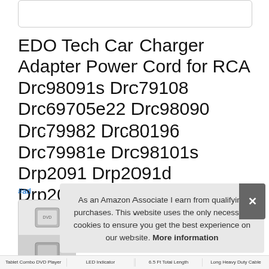[Figure (other): Top image placeholder box (product image area, partially cropped)]
EDO Tech Car Charger Adapter Power Cord for RCA Drc98091s Drc79108 Drc69705e22 Drc98090 Drc79982 Drc80196 Drc79981e Drc98101s Drp2091 Drp2091d Drp2091a Portable Dvd Combo Player 6.5’ Long Cable
#ad
[Figure (screenshot): Bottom portion of page showing product thumbnail images and feature icons (Tablet Combo DVD Player, LED Indicator, 6.5 Ft Total Length, Long Heavy Duty Cable)]
As an Amazon Associate I earn from qualifying purchases. This website uses the only necessary cookies to ensure you get the best experience on our website. More information